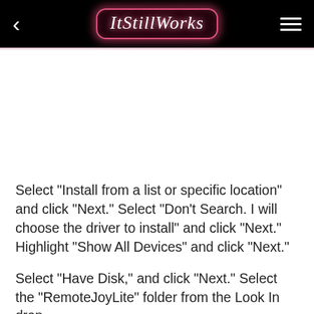ItStillWorks
Select "Install from a list or specific location" and click "Next." Select "Don't Search. I will choose the driver to install" and click "Next." Highlight "Show All Devices" and click "Next."
Select "Have Disk," and click "Next." Select the "RemoteJoyLite" folder from the Look In drop-